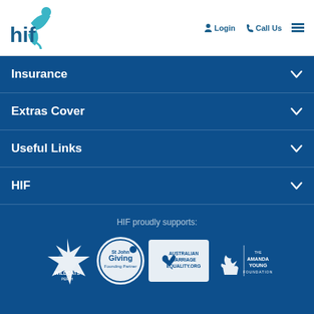[Figure (logo): HIF logo with stylized figure in teal/green and blue text]
Login  Call Us  ☰
Insurance ∨
Extras Cover ∨
Useful Links ∨
HIF ∨
HIF proudly supports:
[Figure (logo): Logos of: Perth Wildcats, St John Giving Founding Partner, Australian Marriage Equality.org, The Amanda Young Foundation]